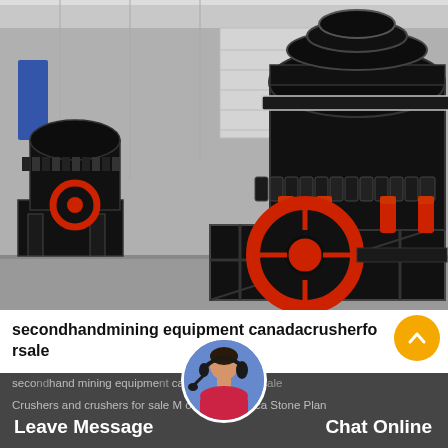[Figure (photo): Industrial cone crushers / mining equipment photographed in a factory/warehouse setting. Two large black and red cone crusher machines on the factory floor with metal springs, red hydraulic cylinders, and a prominent red flywheel. The image is partially desaturated except for the red accents.]
secondhandmining equipment canadacrusherforsale
secondhand mining equipment canadacrusherforsale Crushers and crushers for sale M ore South Africa Stone Plan